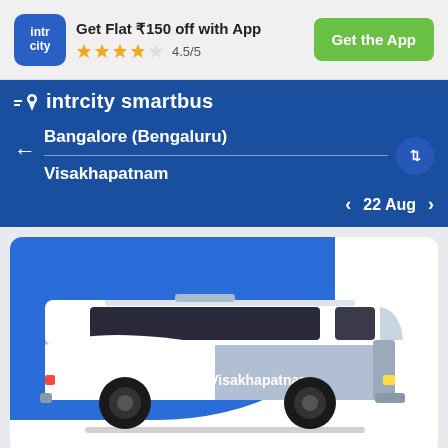[Figure (screenshot): IntrCity app logo - blue rounded square with 'intr city' text in white]
Get Flat ₹150 off with App
★★★★½ 4.5/5
[Figure (screenshot): Get the App green button]
[Figure (logo): IntrCity SmartBus logo with location pin icon]
Bangalore (Bengaluru)
Visakhapatnam
22 Aug
[Figure (illustration): Blue and white intercity bus illustration with 'Bangalore - Visakhapatnam' text on the side, shown on a blue background card]
Trip Overview